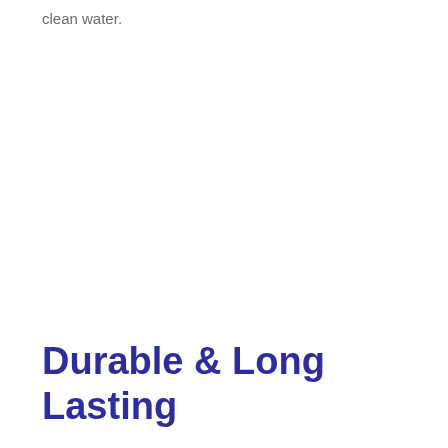clean water.
Durable & Long Lasting